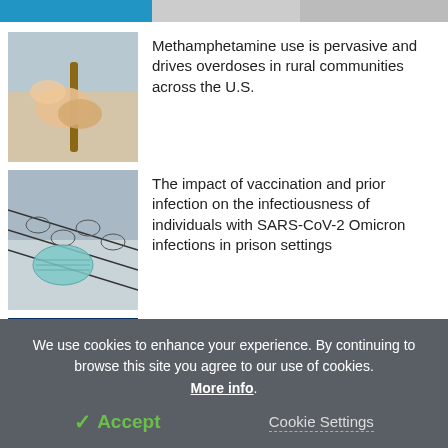[Figure (photo): Top navigation bar with blue and gray segments]
[Figure (photo): Elderly person's hand holding a cane, with another hand touching it]
Methamphetamine use is pervasive and drives overdoses in rural communities across the U.S.
[Figure (photo): Face mask hanging on a barbed wire fence]
The impact of vaccination and prior infection on the infectiousness of individuals with SARS-CoV-2 Omicron infections in prison settings
[Figure (photo): Coronavirus particle microscopic image]
Study finds hybrid immunity or booster
We use cookies to enhance your experience. By continuing to browse this site you agree to our use of cookies. More info.
✓ Accept
Cookie Settings